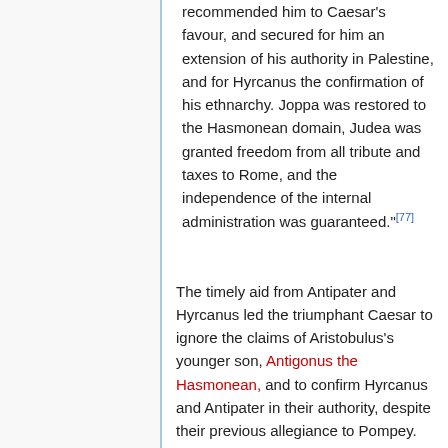recommended him to Caesar's favour, and secured for him an extension of his authority in Palestine, and for Hyrcanus the confirmation of his ethnarchy. Joppa was restored to the Hasmonean domain, Judea was granted freedom from all tribute and taxes to Rome, and the independence of the internal administration was guaranteed."[77]
The timely aid from Antipater and Hyrcanus led the triumphant Caesar to ignore the claims of Aristobulus's younger son, Antigonus the Hasmonean, and to confirm Hyrcanus and Antipater in their authority, despite their previous allegiance to Pompey. Josephus noted,